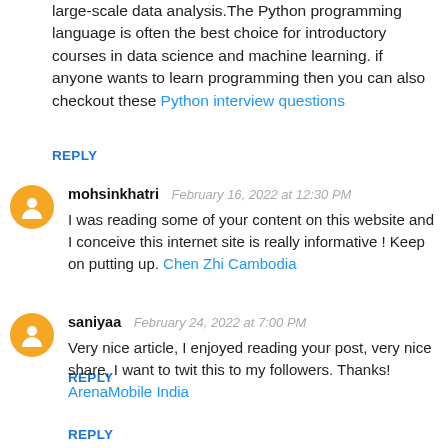large-scale data analysis.The Python programming language is often the best choice for introductory courses in data science and machine learning. if anyone wants to learn programming then you can also checkout these Python interview questions
REPLY
mohsinkhatri  February 16, 2022 at 12:30 PM
I was reading some of your content on this website and I conceive this internet site is really informative ! Keep on putting up. Chen Zhi Cambodia
REPLY
saniyaa  February 24, 2022 at 7:00 PM
Very nice article, I enjoyed reading your post, very nice share, I want to twit this to my followers. Thanks! ArenaMobile India
REPLY